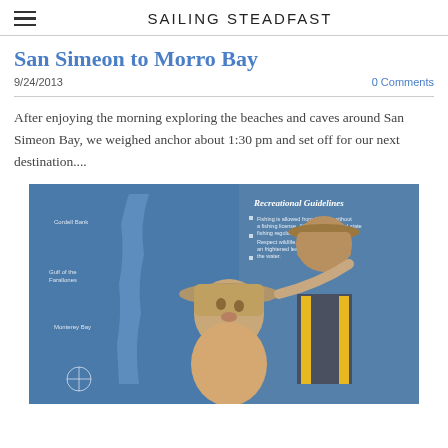SAILING STEADFAST
San Simeon to Morro Bay
9/24/2013
0 Comments
After enjoying the morning exploring the beaches and caves around San Simeon Bay, we weighed anchor about 1:30 pm and set off for our next destination....
[Figure (photo): Two children wearing wide-brimmed hats standing in front of a blue coastal map display board showing 'Recreational Guidelines'. The child in front is looking at the camera while the one behind points at the map.]